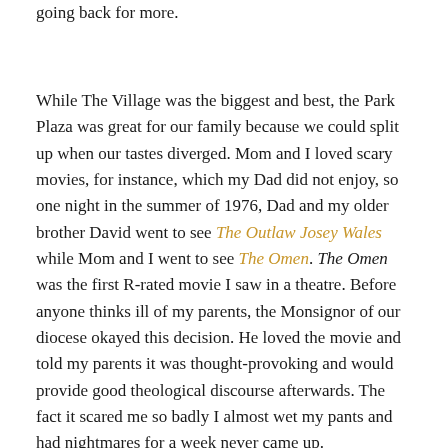going back for more.
While The Village was the biggest and best, the Park Plaza was great for our family because we could split up when our tastes diverged. Mom and I loved scary movies, for instance, which my Dad did not enjoy, so one night in the summer of 1976, Dad and my older brother David went to see The Outlaw Josey Wales while Mom and I went to see The Omen. The Omen was the first R-rated movie I saw in a theatre. Before anyone thinks ill of my parents, the Monsignor of our diocese okayed this decision. He loved the movie and told my parents it was thought-provoking and would provide good theological discourse afterwards. The fact it scared me so badly I almost wet my pants and had nightmares for a week never came up.